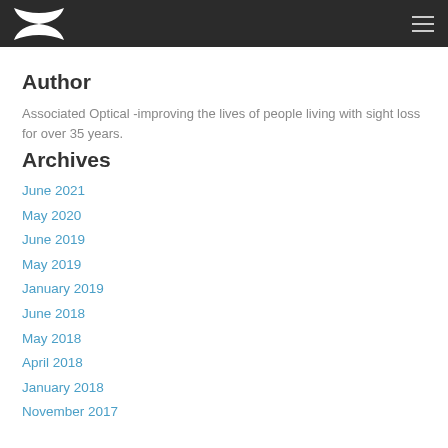Associated Optical [logo] [menu]
Author
Associated Optical -improving the lives of people living with sight loss for over 35 years.
Archives
June 2021
May 2020
June 2019
May 2019
January 2019
June 2018
May 2018
April 2018
January 2018
November 2017